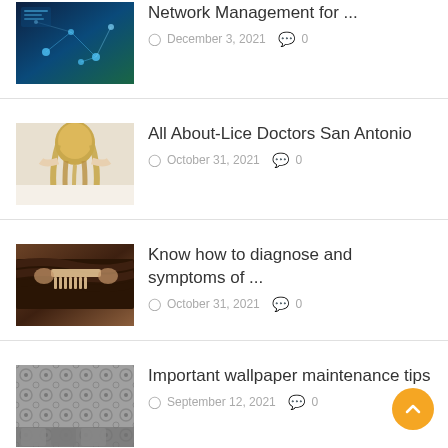[Figure (photo): Network/technology image with map and digital nodes, blue tones]
Network Management for …
December 3, 2021  0
[Figure (photo): Woman with long blonde hair touching her head, back view]
All About-Lice Doctors San Antonio
October 31, 2021  0
[Figure (photo): Close-up of someone checking hair for lice with a comb]
Know how to diagnose and symptoms of …
October 31, 2021  0
[Figure (photo): Decorative wallpaper pattern with floral/botanical motif in gray tones]
Important wallpaper maintenance tips
September 12, 2021  0